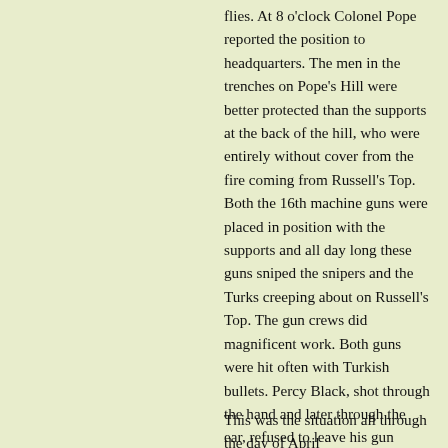flies. At 8 o'clock Colonel Pope reported the position to headquarters. The men in the trenches on Pope's Hill were better protected than the supports at the back of the hill, who were entirely without cover from the fire coming from Russell's Top. Both the 16th machine guns were placed in position with the supports and all day long these guns sniped the snipers and the Turks creeping about on Russell's Top. The gun crews did magnificent work. Both guns were hit often with Turkish bullets. Percy Black, shot through the hand and later through the ear, refused to leave his gun during any of the heavy fighting of this and the following week. The barrel casings, shot through in many places, had to be plugged with pieces of ammunition boxes in order to hold the water necessary to keep the barrels cool. Murray was wounded during the morning but remained on duty Indeed, it was necessary that he should do so, for by this time many of the original gun crews had been killed or wounded. The work of the guns, while it kept down organised movement of Turks along Russell's Top, could not prevent various small parties of two or three from becoming established.
This was the situation all through the day of April